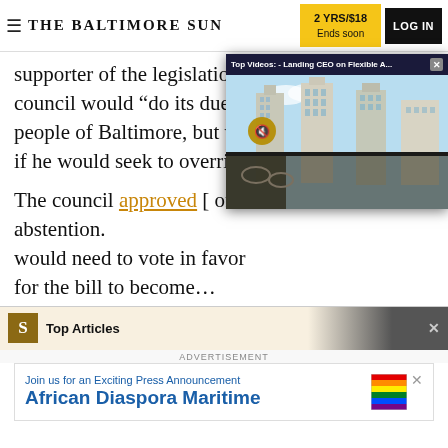THE BALTIMORE SUN | 2 YRS/$18 Ends soon | LOG IN
supporter of the legislation, said the 14-member council would “do its due diligence” for the people of Baltimore, but would not say explicitly if he would seek to override the veto.
[Figure (screenshot): Top Videos popup overlay showing city skyline with tall buildings, with header 'Top Videos: - Landing CEO on Flexible A...' and a close button]
The council approved [link] of 12-2 with one abstention. [Members] would need to vote in favor for the bill to become [law].
[Figure (screenshot): Top Articles bar with gold S logo and close X button, partially visible]
ADVERTISEMENT
[Figure (infographic): Advertisement banner: 'Join us for an Exciting Press Announcement - African Diaspora Maritime' with colorful rainbow flag graphic and close button]